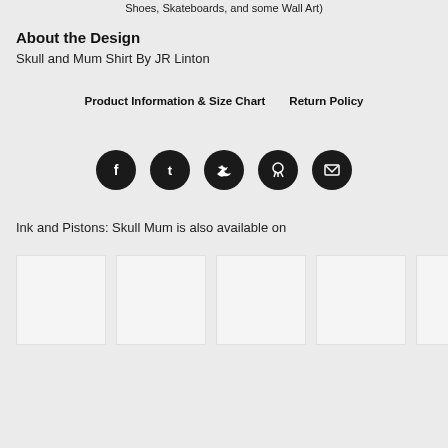Shoes, Skateboards, and some Wall Art)
About the Design
Skull and Mum Shirt By JR Linton
Product Information & Size Chart   Return Policy
[Figure (infographic): Row of 5 social media sharing icons (Facebook, Tumblr, Twitter, Pinterest, Email) as white icons on black circles]
Ink and Pistons: Skull Mum is also available on
[Figure (infographic): Row of 6 product thumbnail placeholder boxes (light gray rectangles)]